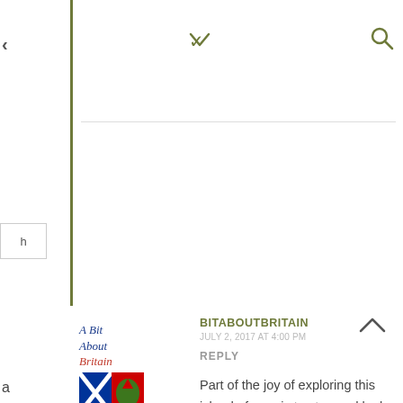< ∨ 🔍
[Figure (logo): A Bit About Britain blog logo with text in italic blue/red and a flag icon]
BITABOUTBRITAIN
JULY 2, 2017 AT 4:00 PM
REPLY
Part of the joy of exploring this island of ours is to stop and look at some roadside monument or other, and find out what it's all about. Or to hunt out particular ones, like this wonderful cross. Almost a timeless design! Thank you for the intro!
a